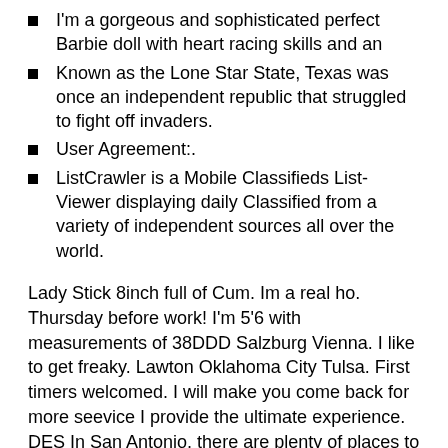I'm a gorgeous and sophisticated perfect Barbie doll with heart racing skills and an
Known as the Lone Star State, Texas was once an independent republic that struggled to fight off invaders.
User Agreement:.
ListCrawler is a Mobile Classifieds List-Viewer displaying daily Classified from a variety of independent sources all over the world.
Lady Stick 8inch full of Cum. Im a real ho. Thursday before work! I'm 5'6 with measurements of 38DDD Salzburg Vienna. I like to get freaky. Lawton Oklahoma City Tulsa. First timers welcomed. I will make you come back for more seevice I provide the ultimate experience. DES In San Antonio, there are plenty of places to explore. Permits you to temporarily mark select Posts for easy and quick visibility. Salt Lake City, UT. Hey gentleman my name is Veronica.